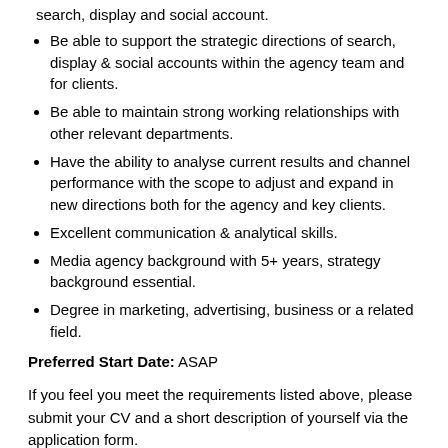search, display and social account.
Be able to support the strategic directions of search, display & social accounts within the agency team and for clients.
Be able to maintain strong working relationships with other relevant departments.
Have the ability to analyse current results and channel performance with the scope to adjust and expand in new directions both for the agency and key clients.
Excellent communication & analytical skills.
Media agency background with 5+ years, strategy background essential.
Degree in marketing, advertising, business or a related field.
Preferred Start Date: ASAP
If you feel you meet the requirements listed above, please submit your CV and a short description of yourself via the application form.